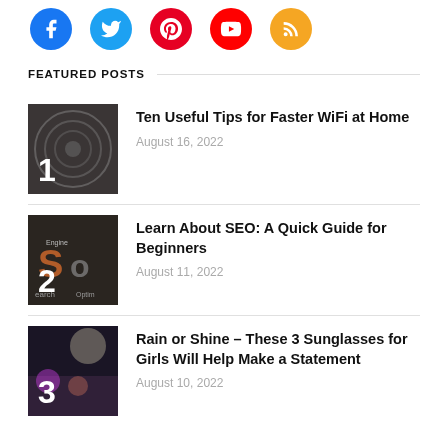[Figure (illustration): Row of 5 social media icon circles: Facebook (blue), Twitter (cyan), Pinterest (red), YouTube (red), RSS (orange/gold)]
FEATURED POSTS
[Figure (photo): Thumbnail image with number 1, dark background with circular pattern]
Ten Useful Tips for Faster WiFi at Home
August 16, 2022
[Figure (photo): Thumbnail image with number 2, SEO letters on dark background]
Learn About SEO: A Quick Guide for Beginners
August 11, 2022
[Figure (photo): Thumbnail image with number 3, colorful dark background]
Rain or Shine – These 3 Sunglasses for Girls Will Help Make a Statement
August 10, 2022